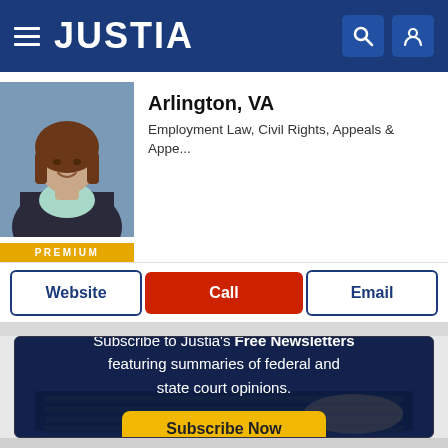JUSTIA
Arlington, VA
Employment Law, Civil Rights, Appeals & Appe...
PREMIUM
Website | Call | Email
[Figure (infographic): Justia newsletter subscription banner with dark blue background showing keyboard, text: Subscribe to Justia's Free Newsletters featuring summaries of federal and state court opinions. Subscribe Now button in gold.]